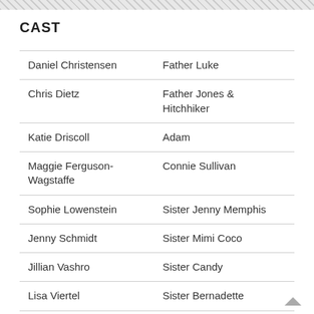CAST
| Actor | Role |
| --- | --- |
| Daniel Christensen | Father Luke |
| Chris Dietz | Father Jones & Hitchhiker |
| Katie Driscoll | Adam |
| Maggie Ferguson-Wagstaffe | Connie Sullivan |
| Sophie Lowenstein | Sister Jenny Memphis |
| Jenny Schmidt | Sister Mimi Coco |
| Jillian Vashro | Sister Candy |
| Lisa Viertel | Sister Bernadette |
| Clayton Weller | Brother Placido |